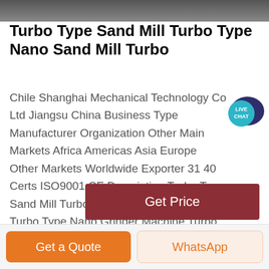[Figure (photo): Top image strip, partially visible product/machinery photo]
Turbo Type Sand Mill Turbo Type Nano Sand Mill Turbo
[Figure (other): Live Chat speech bubble button in teal/dark blue]
Chile Shanghai Mechanical Technology Co Ltd Jiangsu China Business Type Manufacturer Organization Other Main Markets Africa Americas Asia Europe Other Markets Worldwide Exporter 31 40 Certs ISO9001 CE Description Turbo Type Sand Mill Turbo Type Nano Sand Mill Turbo Type Nano Grinder Machine Turbo Type Nano Grinding Equipment
Get Price
Get a Quote
WhatsApp